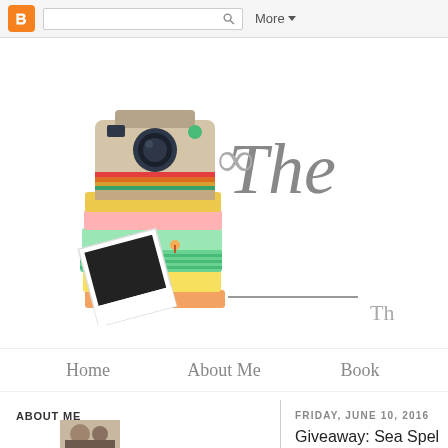[Figure (screenshot): Blogger navigation bar with orange logo, search box, and More dropdown]
[Figure (illustration): Blog header illustration: stack of colorful books with a vintage Polaroid camera on top and a photo print leaning against the stack]
The
Th
Home  About Me  Book
ABOUT ME
FRIDAY, JUNE 10, 2016
Giveaway: Sea Spel